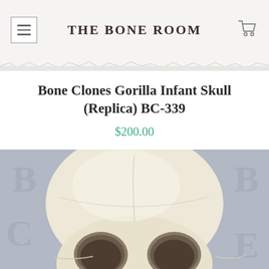THE BONE ROOM
Bone Clones Gorilla Infant Skull (Replica) BC-339
$200.00
[Figure (photo): A white/cream-colored gorilla infant skull replica photographed against a gray background with watermark 'B' letters. The skull is shown in a frontal-angled view, displaying large cranial dome, prominent eye sockets, and nasal cavity.]